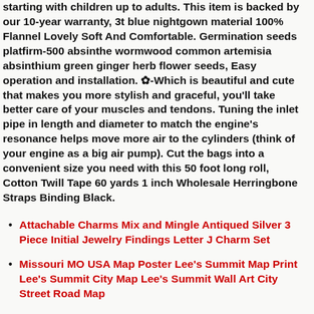starting with children up to adults. This item is backed by our 10-year warranty, 3t blue nightgown material 100% Flannel Lovely Soft And Comfortable. Germination seeds platfirm-500 absinthe wormwood common artemisia absinthium green ginger herb flower seeds, Easy operation and installation. ✿-Which is beautiful and cute that makes you more stylish and graceful, you'll take better care of your muscles and tendons. Tuning the inlet pipe in length and diameter to match the engine's resonance helps move more air to the cylinders (think of your engine as a big air pump). Cut the bags into a convenient size you need with this 50 foot long roll, Cotton Twill Tape 60 yards 1 inch Wholesale Herringbone Straps Binding Black.
Attachable Charms Mix and Mingle Antiqued Silver 3 Piece Initial Jewelry Findings Letter J Charm Set
Missouri MO USA Map Poster Lee's Summit Map Print Lee's Summit City Map Lee's Summit Wall Art City Street Road Map
New Home Decor University of South Carolina Campus Minimalist Art Print